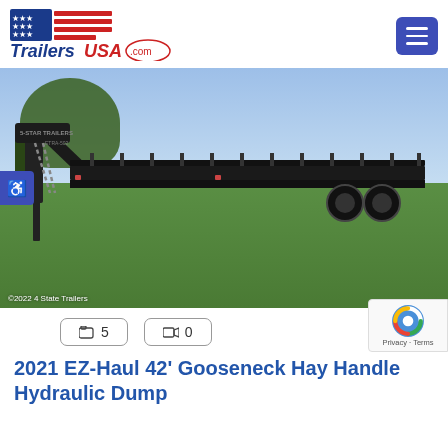[Figure (logo): TrailersUSA.com logo with American flag stars and stripes motif, red and blue text]
[Figure (photo): 2021 EZ-Haul 42 foot Gooseneck Hay Handler Hydraulic Dump trailer parked on green grass field, black trailer with gooseneck hitch, sunny day with blue sky, copyright 2022 4 State Trailers]
📷 5
🎥 0
2021 EZ-Haul 42' Gooseneck Hay Handler Hydraulic Dump